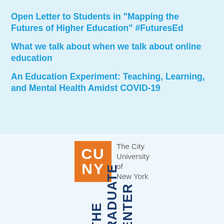Open Letter to Students in "Mapping the Futures of Higher Education" #FuturesEd
What we talk about when we talk about online education
An Education Experiment: Teaching, Learning, and Mental Health Amidst COVID-19
[Figure (logo): CUNY logo: orange square with CU/NY in white bold letters, followed by text 'The City University of New York' in gray]
[Figure (logo): The Graduate Center logo in dark blue, text rotated vertically reading 'THE GRADUATE CENTER']